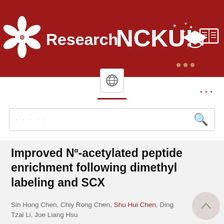[Figure (logo): Research NCKU! university website header banner with red background, NCKU flower logo, graduation cap icons, and book icons]
...
· · ·
Improved Nα-acetylated peptide enrichment following dimethyl labeling and SCX
Sin Hong Chen, Chiy Rong Chen, Shu Hui Chen, Ding Tzai Li, Jue Liang Hsu